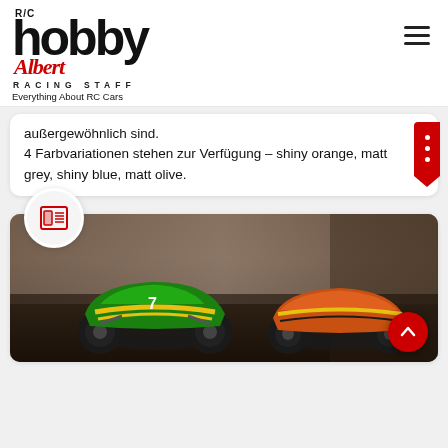[Figure (logo): R/C Hobby Albert Racing Staff logo with tagline 'Everything About RC Cars']
außergewöhnlich sind.
4 Farbvariationen stehen zur Verfügung – shiny orange, matt grey, shiny blue, matt olive.
[Figure (photo): Photo of two RC monster trucks (green and orange) in a dark industrial setting]